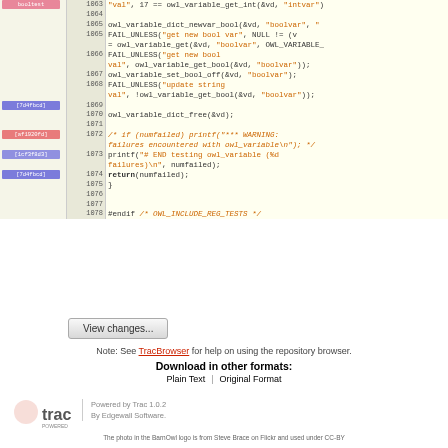[Figure (screenshot): Source code viewer showing C code lines 1063-1078 with revision markers in pink, blue, and red colors on the left. Code includes owl_variable functions for boolean variable testing.]
View changes...
Note: See TracBrowser for help on using the repository browser.
Download in other formats:
Plain Text | Original Format
Powered by Trac 1.0.2
By Edgewall Software.
The photo in the BarnOwl logo is from Steve Brace on Flickr and used under CC-BY